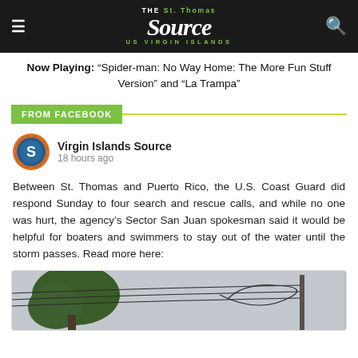The St. Thomas Source — US Virgin Islands
Now Playing: “Spider-man: No Way Home: The More Fun Stuff Version” and “La Trampa”
FROM FACEBOOK
Virgin Islands Source
18 hours ago
Between St. Thomas and Puerto Rico, the U.S. Coast Guard did respond Sunday to four search and rescue calls, and while no one was hurt, the agency’s Sector San Juan spokesman said it would be helpful for boaters and swimmers to stay out of the water until the storm passes. Read more here:
[Figure (photo): Photo preview of news article showing trees and utility wires against an overcast sky]